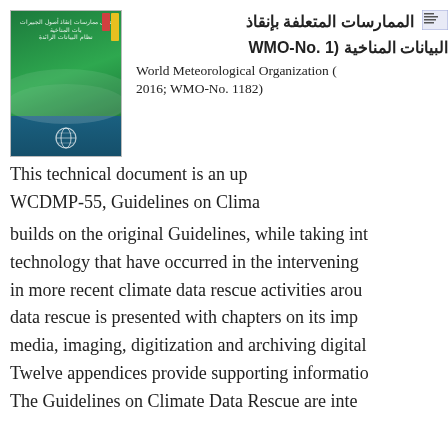[Figure (illustration): Green book cover of WMO Guidelines on Climate Data Rescue publication]
الممارسات المتعلفة بإنقاذ البيانات المناخية (WMO-No. 1182)
World Meteorological Organization (2016; WMO-No. 1182)
This technical document is an up...
WCDMP-55, Guidelines on Clima...
builds on the original Guidelines, while taking int... technology that have occurred in the intervening... in more recent climate data rescue activities arou... data rescue is presented with chapters on its imp... media, imaging, digitization and archiving digital... Twelve appendices provide supporting informatio... The Guidelines on Climate Data Rescue are inte...